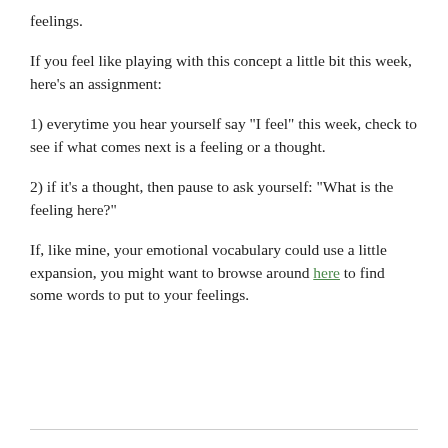feelings.
If you feel like playing with this concept a little bit this week, here’s an assignment:
1) everytime you hear yourself say “I feel” this week, check to see if what comes next is a feeling or a thought.
2) if it’s a thought, then pause to ask yourself: “What is the feeling here?”
If, like mine, your emotional vocabulary could use a little expansion, you might want to browse around here to find some words to put to your feelings.